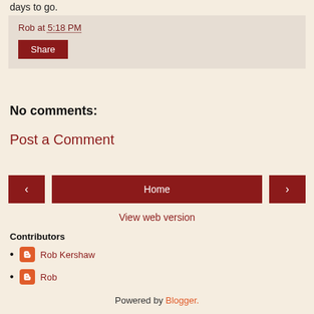days to go.
Rob at 5:18 PM
Share
No comments:
Post a Comment
< Home >
View web version
Contributors
Rob Kershaw
Rob
Powered by Blogger.